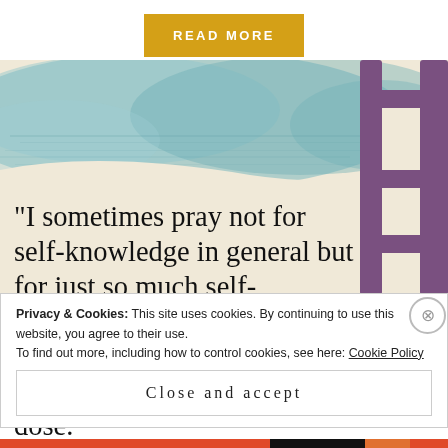READ MORE
[Figure (illustration): Watercolor-style illustration with teal/blue brushstroke wash on top, cream background below, and a purple geometric ladder/frame structure on the right side.]
“I sometimes pray not for self-knowledge in general but for just so much self-knowledge at the moment as I can bear and use at the moment; the little daily dose.”
Privacy & Cookies: This site uses cookies. By continuing to use this website, you agree to their use.
To find out more, including how to control cookies, see here: Cookie Policy
Close and accept